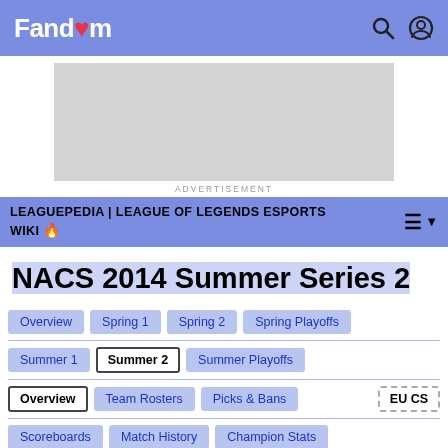Fandom
[Figure (other): Advertisement placeholder box]
ADVERTISEMENT
LEAGUEPEDIA | LEAGUE OF LEGENDS ESPORTS WIKI 🔥
NACS 2014 Summer Series 2
Overview | Spring 1 | Spring 2 | Spring Playoffs
Summer 1 | Summer 2 | Summer Playoffs
Overview | Team Rosters | Picks & Bans | EU CS
Scoreboards | Match History | Champion Stats